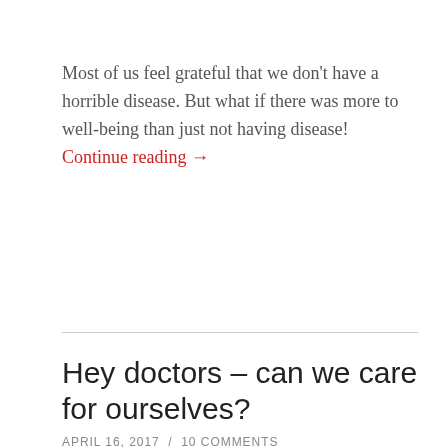Most of us feel grateful that we don't have a horrible disease. But what if there was more to well-being than just not having disease! Continue reading →
Hey doctors – can we care for ourselves?
APRIL 16, 2017 / 10 COMMENTS
[Figure (photo): A doctor in a white coat holding a stethoscope with a medical cross symbol, smiling]